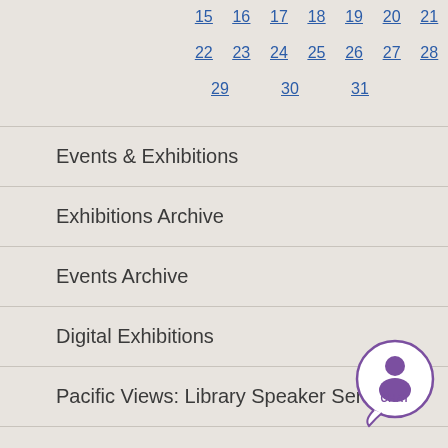| 15 | 16 | 17 | 18 | 19 | 20 | 21 |
| 22 | 23 | 24 | 25 | 26 | 27 | 28 |
| 29 | 30 | 31 |  |  |  |  |
Events & Exhibitions
Exhibitions Archive
Events Archive
Digital Exhibitions
Pacific Views: Library Speaker Series
UCSB Reads
[Figure (illustration): Purple circular chat button with person silhouette icon and CHAT label]